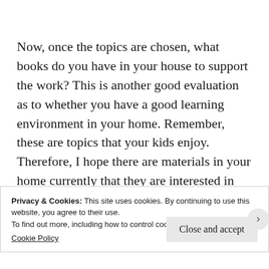Now, once the topics are chosen, what books do you have in your house to support the work? This is another good evaluation as to whether you have a good learning environment in your home. Remember, these are topics that your kids enjoy. Therefore, I hope there are materials in your home currently that they are interested in reading. If you do not have the books at home, Amazon is your friend, and you now have your
Privacy & Cookies: This site uses cookies. By continuing to use this website, you agree to their use.
To find out more, including how to control cookies, see here:
Cookie Policy
Close and accept